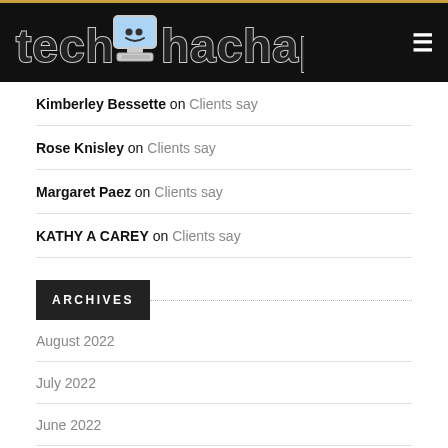tech hachapi
Kimberley Bessette on Clients say
Rose Knisley on Clients say
Margaret Paez on Clients say
KATHY A CAREY on Clients say
ARCHIVES
August 2022
July 2022
June 2022